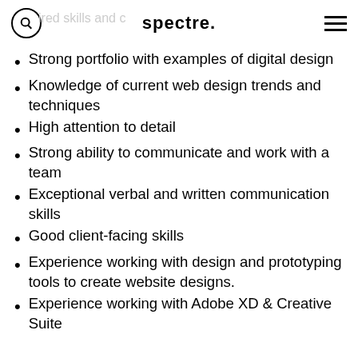spectre.
Strong portfolio with examples of digital design
Knowledge of current web design trends and techniques
High attention to detail
Strong ability to communicate and work with a team
Exceptional verbal and written communication skills
Good client-facing skills
Experience working with design and prototyping tools to create website designs.
Experience working with Adobe XD & Creative Suite